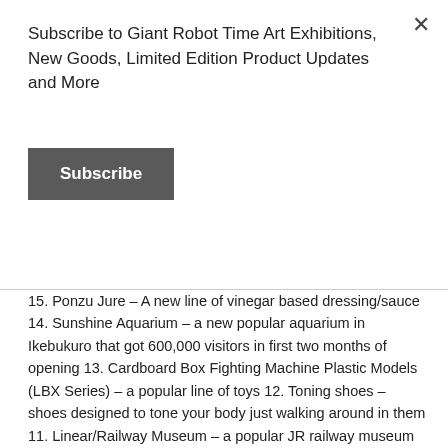Subscribe to Giant Robot Time Art Exhibitions, New Goods, Limited Edition Product Updates and More
Subscribe
15. Ponzu Jure – A new line of vinegar based dressing/sauce 14. Sunshine Aquarium – a new popular aquarium in Ikebukuro that got 600,000 visitors in first two months of opening 13. Cardboard Box Fighting Machine Plastic Models (LBX Series) – a popular line of toys 12. Toning shoes – shoes designed to tone your body just walking around in them 11. Linear/Railway Museum – a popular JR railway museum that features Japan's new upcoming maglev high speed trains 10. Kamen Riders Transformation Belt (DX Orz Driver) – popular children's toy in power rangers tradition 9. Loxonin – recently available without prescription painkiller/headache medicine 8. PHS Phones With Flat Rate Unlimited Calling